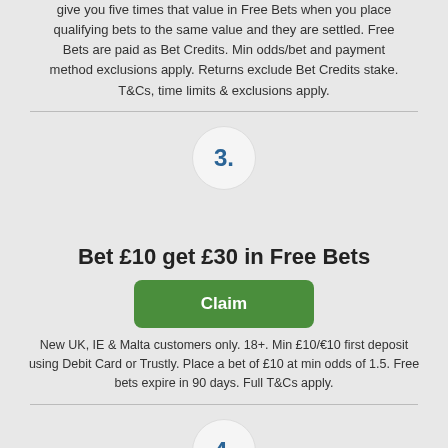give you five times that value in Free Bets when you place qualifying bets to the same value and they are settled. Free Bets are paid as Bet Credits. Min odds/bet and payment method exclusions apply. Returns exclude Bet Credits stake. T&Cs, time limits & exclusions apply.
[Figure (other): Circle badge with number 3]
Bet £10 get £30 in Free Bets
[Figure (other): Green Claim button]
New UK, IE & Malta customers only. 18+. Min £10/€10 first deposit using Debit Card or Trustly. Place a bet of £10 at min odds of 1.5. Free bets expire in 90 days. Full T&Cs apply.
[Figure (other): Circle badge with number 4]